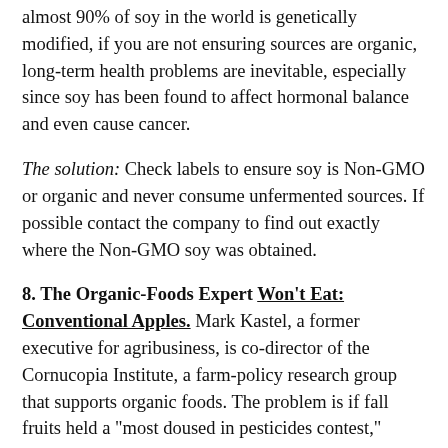almost 90% of soy in the world is genetically modified, if you are not ensuring sources are organic, long-term health problems are inevitable, especially since soy has been found to affect hormonal balance and even cause cancer.
The solution: Check labels to ensure soy is Non-GMO or organic and never consume unfermented sources. If possible contact the company to find out exactly where the Non-GMO soy was obtained.
8. The Organic-Foods Expert Won't Eat: Conventional Apples. Mark Kastel, a former executive for agribusiness, is co-director of the Cornucopia Institute, a farm-policy research group that supports organic foods. The problem is if fall fruits held a "most doused in pesticides contest," apples would win. Why? They are individually grafted (descended from a single tree) so that each variety maintains its distinctive flavor. Oh, just